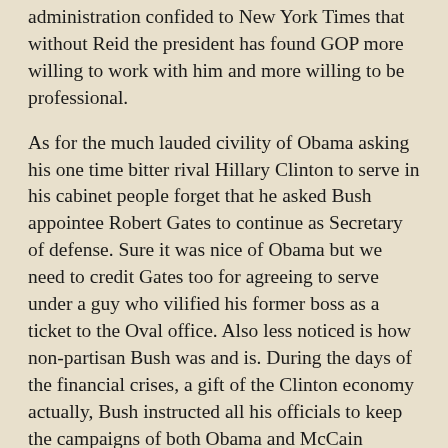administration confided to New York Times that without Reid the president has found GOP more willing to work with him and more willing to be professional.
As for the much lauded civility of Obama asking his one time bitter rival Hillary Clinton to serve in his cabinet people forget that he asked Bush appointee Robert Gates to continue as Secretary of defense. Sure it was nice of Obama but we need to credit Gates too for agreeing to serve under a guy who vilified his former boss as a ticket to the Oval office. Also less noticed is how non-partisan Bush was and is. During the days of the financial crises, a gift of the Clinton economy actually, Bush instructed all his officials to keep the campaigns of both Obama and McCain equally informed because one of them will have to succeed him. Also, unlike what the departing Clinton administration did Bush ensured that the incoming Obama team was already up to speed on national security and key issues.
In case the readers have forgotten I take pleasure in reminding them how childish the Clinton administration behaved when George Bush took over. Peeved over the contentious and controversial manner of how Bush reached...